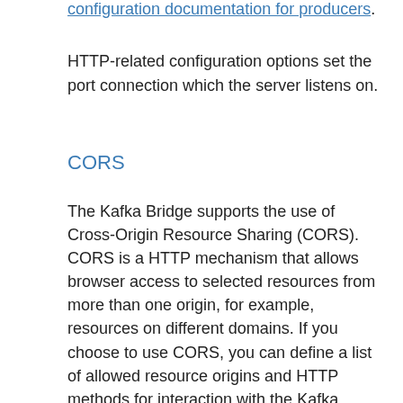configuration documentation for producers.
HTTP-related configuration options set the port connection which the server listens on.
CORS
The Kafka Bridge supports the use of Cross-Origin Resource Sharing (CORS). CORS is a HTTP mechanism that allows browser access to selected resources from more than one origin, for example, resources on different domains. If you choose to use CORS, you can define a list of allowed resource origins and HTTP methods for interaction with the Kafka cluster through the Kafka Bridge. The lists are defined in the http specification of the Kafka Bridge